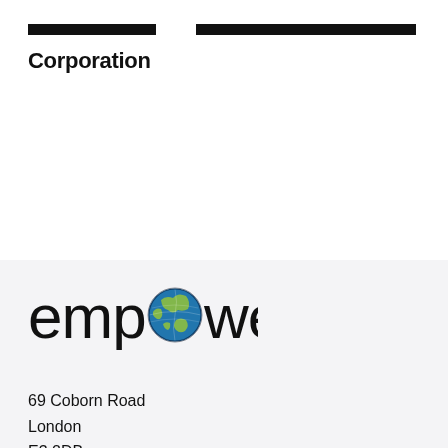[Figure (logo): Two black horizontal bars at top of page, with 'Corporation' text in bold below the left bar]
Corporation
[Figure (logo): Empower logo: text 'empower' in large black font with a globe icon (blue/green earth) replacing the 'o' in 'power']
69 Coborn Road
London
E3 2DB